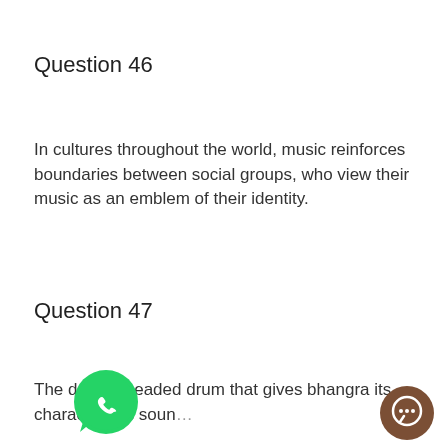Question 46
In cultures throughout the world, music reinforces boundaries between social groups, who view their music as an emblem of their identity.
Question 47
The double-headed drum that gives bhangra its characteristic soun…
[Figure (logo): WhatsApp green phone logo]
[Figure (logo): Brown chat/messenger icon]